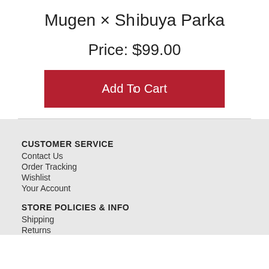Mugen × Shibuya Parka
Price: $99.00
Add To Cart
CUSTOMER SERVICE
Contact Us
Order Tracking
Wishlist
Your Account
STORE POLICIES & INFO
Shipping
Returns